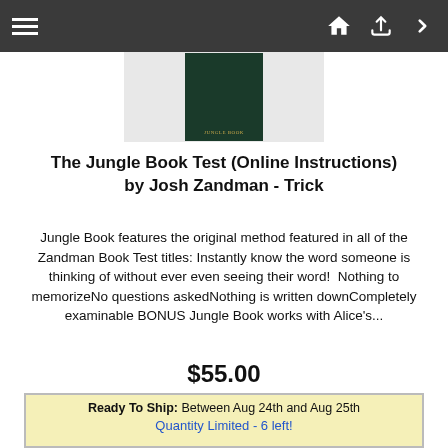[Figure (screenshot): Dark navigation bar with hamburger menu on left and home, upload, login icons on right]
[Figure (photo): Book cover image for The Jungle Book, dark green color with text]
The Jungle Book Test (Online Instructions) by Josh Zandman - Trick
Jungle Book features the original method featured in all of the Zandman Book Test titles: Instantly know the word someone is thinking of without ever even seeing their word!  Nothing to memorizeNo questions askedNothing is written downCompletely examinable BONUS Jungle Book works with Alice's...
$55.00
Buy Now
Ready To Ship: Between Aug 24th and Aug 25th
Quantity Limited - 6 left!